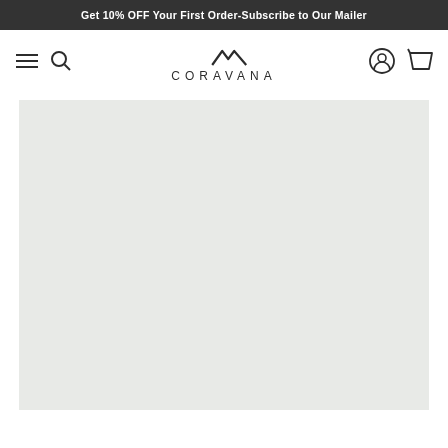Get 10% OFF Your First Order-Subscribe to Our Mailer
[Figure (logo): Coravana logo with chevron/mountain symbol above the text CORAVANA]
[Figure (photo): Large light gray placeholder image area]